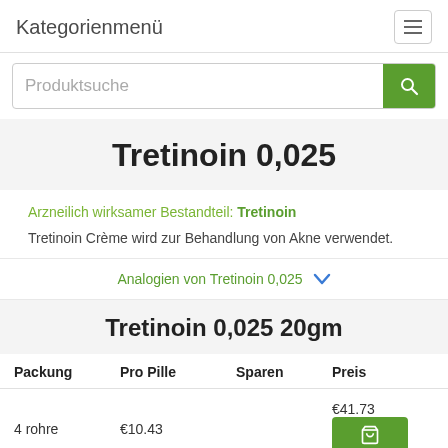Kategorienmenü
Produktsuche
Tretinoin 0,025
Arzneilich wirksamer Bestandteil: Tretinoin
Tretinoin Crème wird zur Behandlung von Akne verwendet.
Analogien von Tretinoin 0,025
Tretinoin 0,025 20gm
| Packung | Pro Pille | Sparen | Preis |
| --- | --- | --- | --- |
| 4 rohre | €10.43 |  | €41.73 |